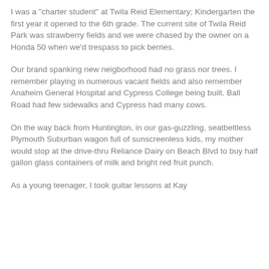I was a "charter student" at Twila Reid Elementary; Kindergarten the first year it opened to the 6th grade. The current site of Twila Reid Park was strawberry fields and we were chased by the owner on a Honda 50 when we'd trespass to pick berries.
Our brand spanking new neigborhood had no grass nor trees. I remember playing in numerous vacant fields and also remember Anaheim General Hospital and Cypress College being built. Ball Road had few sidewalks and Cypress had many cows.
On the way back from Huntington, in our gas-guzzling, seatbeltless Plymouth Suburban wagon full of sunscreenless kids, my mother would stop at the drive-thru Reliance Dairy on Beach Blvd to buy half gallon glass containers of milk and bright red fruit punch.
As a young teenager, I took guitar lessons at Kay